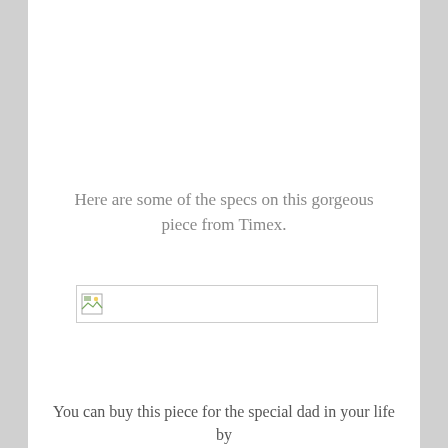Here are some of the specs on this gorgeous piece from Timex.
[Figure (photo): Broken/placeholder image icon with a wide horizontal image container border]
You can buy this piece for the special dad in your life by